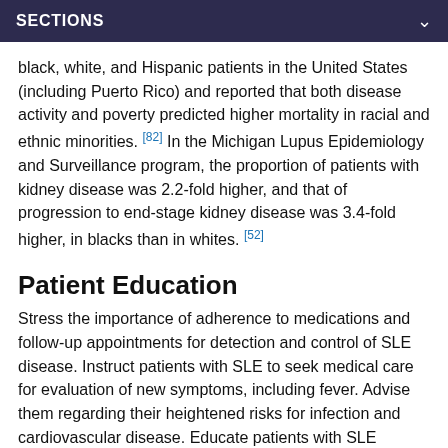SECTIONS
black, white, and Hispanic patients in the United States (including Puerto Rico) and reported that both disease activity and poverty predicted higher mortality in racial and ethnic minorities. [82] In the Michigan Lupus Epidemiology and Surveillance program, the proportion of patients with kidney disease was 2.2-fold higher, and that of progression to end-stage kidney disease was 3.4-fold higher, in blacks than in whites. [52]
Patient Education
Stress the importance of adherence to medications and follow-up appointments for detection and control of SLE disease. Instruct patients with SLE to seek medical care for evaluation of new symptoms, including fever. Advise them regarding their heightened risks for infection and cardiovascular disease. Educate patients with SLE regarding aggressive lipid and blood pressure goals to minimize the risk of coronary artery disease.